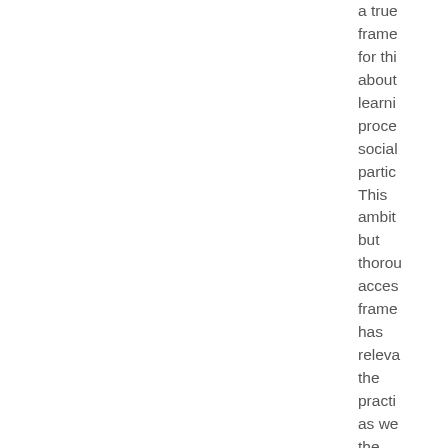a true frame for thi about learni proce social partic This ambit but thorou acces frame has releva the practi as we the theore prese with a bread